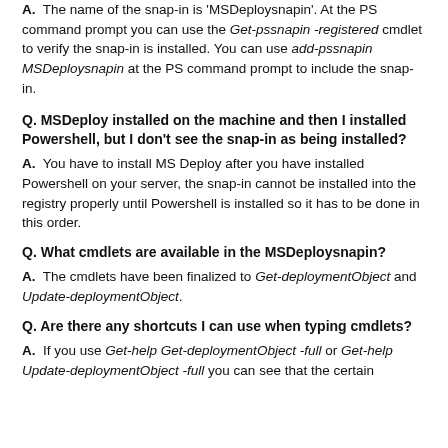A. The name of the snap-in is 'MSDeploysnapin'. At the PS command prompt you can use the Get-pssnapin -registered cmdlet to verify the snap-in is installed. You can use add-pssnapin MSDeploysnapin at the PS command prompt to include the snap-in.
Q. MSDeploy installed on the machine and then I installed Powershell, but I don't see the snap-in as being installed?
A. You have to install MS Deploy after you have installed Powershell on your server, the snap-in cannot be installed into the registry properly until Powershell is installed so it has to be done in this order.
Q. What cmdlets are available in the MSDeploysnapin?
A. The cmdlets have been finalized to Get-deploymentObject and Update-deploymentObject.
Q. Are there any shortcuts I can use when typing cmdlets?
A. If you use Get-help Get-deploymentObject -full or Get-help Update-deploymentObject -full you can see that the certain